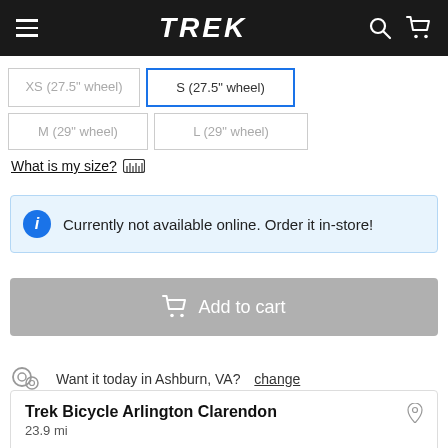TREK (navigation bar with hamburger menu, search, and cart icons)
XS (27.5" wheel)
S (27.5" wheel)
M (29" wheel)
L (29" wheel)
What is my size? [ruler icon]
Currently not available online. Order it in-store!
Add to cart
Want it today in Ashburn, VA? change
Trek Bicycle Arlington Clarendon
23.9 mi
2731 Wilson Boulevard
Arlington, VA 22201
(703) 312-0007
Directions